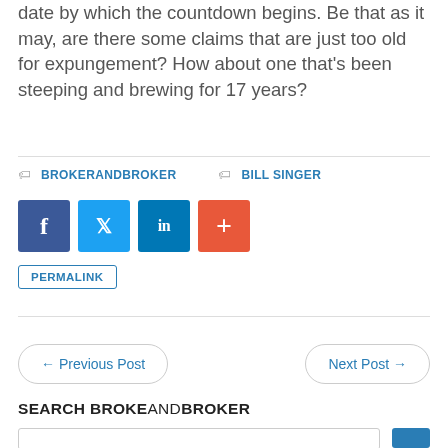date by which the countdown begins. Be that as it may, are there some claims that are just too old for expungement? How about one that's been steeping and brewing for 17 years?
BROKERANDBROKER   BILL SINGER
[Figure (infographic): Social share buttons: Facebook (dark blue), Twitter (light blue), LinkedIn (dark teal), More/Plus (orange-red)]
PERMALINK
← Previous Post   Next Post →
SEARCH BROKEANDBROKER